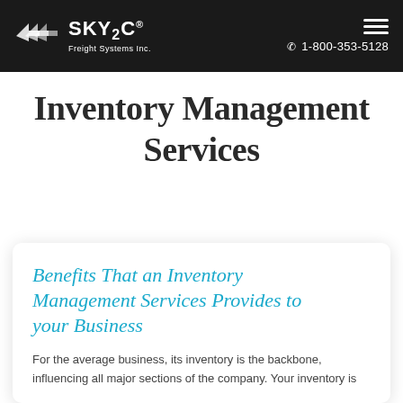SKY2C® Freight Systems Inc. | 1-800-353-5128
Inventory Management Services
Benefits That an Inventory Management Services Provides to your Business
For the average business, its inventory is the backbone, influencing all major sections of the company. Your inventory is